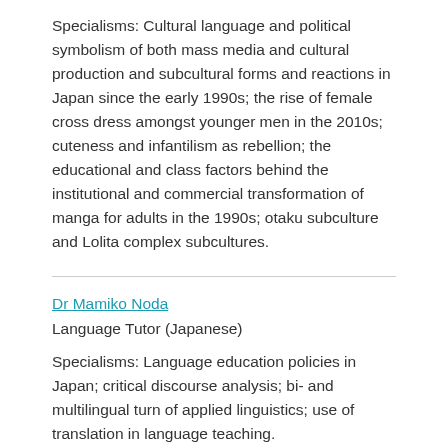Specialisms: Cultural language and political symbolism of both mass media and cultural production and subcultural forms and reactions in Japan since the early 1990s; the rise of female cross dress amongst younger men in the 2010s; cuteness and infantilism as rebellion; the educational and class factors behind the institutional and commercial transformation of manga for adults in the 1990s; otaku subculture and Lolita complex subcultures.
Dr Mamiko Noda
Language Tutor (Japanese)
Specialisms: Language education policies in Japan; critical discourse analysis; bi- and multilingual turn of applied linguistics; use of translation in language teaching.